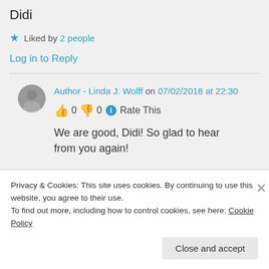Didi
★ Liked by 2 people
Log in to Reply
Author - Linda J. Wolff on 07/02/2018 at 22:30
👍 0 👎 0 ℹ Rate This
We are good, Didi! So glad to hear from you again!
Privacy & Cookies: This site uses cookies. By continuing to use this website, you agree to their use.
To find out more, including how to control cookies, see here: Cookie Policy
Close and accept